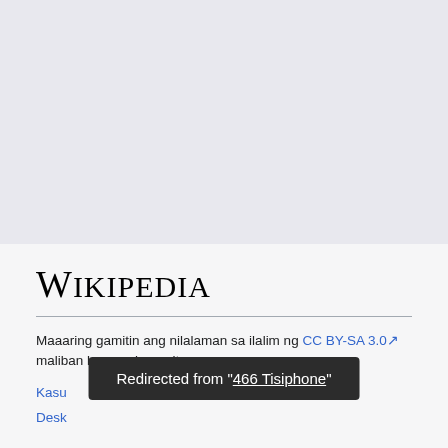[Figure (logo): Wikipedia logo text in serif font]
Maaaring gamitin ang nilalaman sa ilalim ng CC BY-SA 3.0 maliban kung nabanggit.
Kasundo
Desktop
Redirected from "466 Tisiphone"